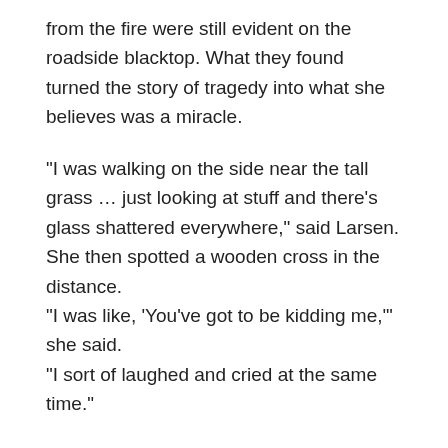from the fire were still evident on the roadside blacktop. What they found turned the story of tragedy into what she believes was a miracle.
“I was walking on the side near the tall grass … just looking at stuff and there’s glass shattered everywhere,” said Larsen. She then spotted a wooden cross in the distance.
“I was like, ‘You’ve got to be kidding me,’” she said.
“I sort of laughed and cried at the same time.”
Larsen had made the cross, which measures about one-foot in height, out of two pieces of wood during a school retreat with sixth-grade students last September at Camp Tekakwitha, which is